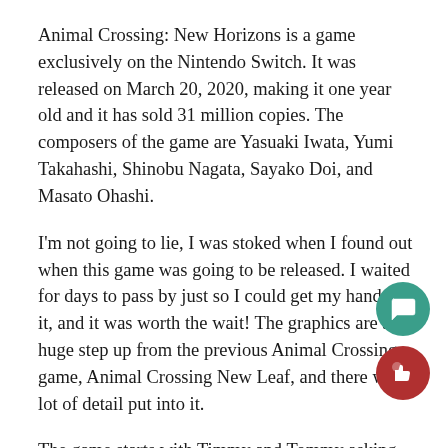Animal Crossing: New Horizons is a game exclusively on the Nintendo Switch. It was released on March 20, 2020, making it one year old and it has sold 31 million copies. The composers of the game are Yasuaki Iwata, Yumi Takahashi, Shinobu Nagata, Sayako Doi, and Masato Ohashi.
I'm not going to lie, I was stoked when I found out when this game was going to be released. I waited for days to pass by just so I could get my hands on it, and it was worth the wait! The graphics are a huge step up from the previous Animal Crossing game, Animal Crossing New Leaf, and there was a lot of detail put into it.
The game starts with Timmy and Tommy asking you questions before you get flown to your island. When you arrive, there are two residents and Tom Nook. Tom Nook helps you get situated on the island and he also gives you debt to pay off. After you figure out the basic game mechanics, you get to invite more residents to your island